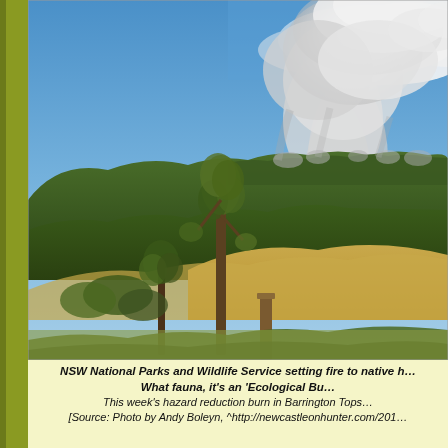[Figure (photo): Aerial/landscape photo showing NSW bushfire with large smoke plume rising from burning mountain ridge covered in eucalyptus forest. In the foreground, a tall eucalyptus tree and a fence post with dry grass hills and green forested mountains behind. Heavy white-grey smoke billows upward from the Barrington Tops area.]
NSW National Parks and Wildlife Service setting fire to native h... What fauna, it's an 'Ecological Bu... This week's hazard reduction burn in Barrington Tops... [Source: Photo by Andy Boleyn, ^http://newcastleonhunter.com/201...